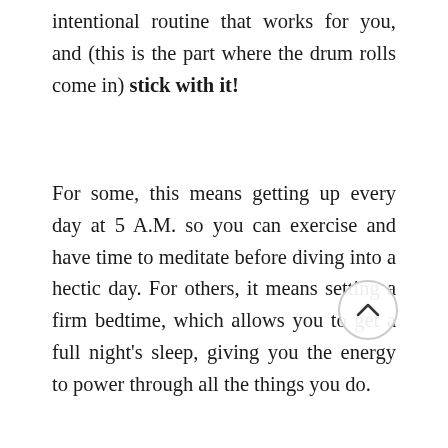intentional routine that works for you, and (this is the part where the drum rolls come in) stick with it!
For some, this means getting up every day at 5 A.M. so you can exercise and have time to meditate before diving into a hectic day. For others, it means setting a firm bedtime, which allows you to get a full night's sleep, giving you the energy to power through all the things you do.